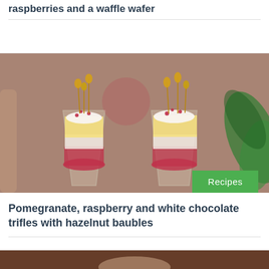raspberries and a waffle wafer
[Figure (photo): Two glass cups filled with pomegranate and raspberry trifle topped with white chocolate cream and golden hazelnut baubles on skewers, set against a warm blurred background with green foliage]
Recipes
Pomegranate, raspberry and white chocolate trifles with hazelnut baubles
[Figure (photo): Partial view of a dark-toned food photograph, bottom of page]